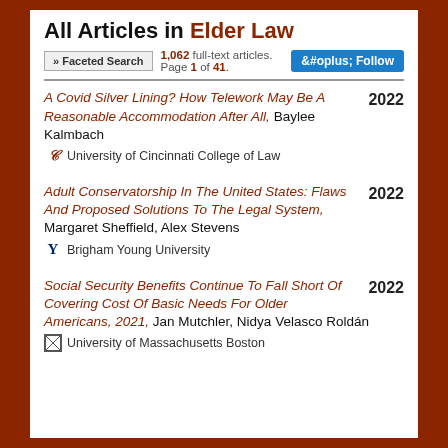All Articles in Elder Law
» Faceted Search   1,062 full-text articles. Page 1 of 41.   + Follow
A Covid Silver Lining? How Telework May Be A Reasonable Accommodation After All, Baylee Kalmbach — University of Cincinnati College of Law — 2022
Adult Conservatorship In The United States: Flaws And Proposed Solutions To The Legal System, Margaret Sheffield, Alex Stevens — Brigham Young University — 2022
Social Security Benefits Continue To Fall Short Of Covering Cost Of Basic Needs For Older Americans, 2021, Jan Mutchler, Nidya Velasco Roldán — University of Massachusetts Boston — 2022